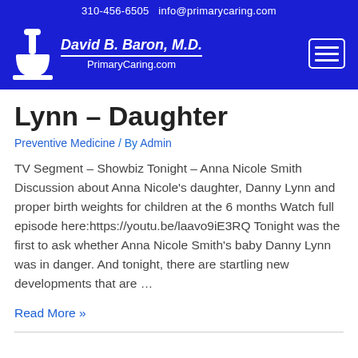310-456-6505   info@primarycaring.com
[Figure (logo): David B. Baron, M.D. / PrimaryCaring.com logo with mortar and pestle icon on blue background]
Lynn – Daughter
Preventive Medicine / By Admin
TV Segment – Showbiz Tonight – Anna Nicole Smith Discussion about Anna Nicole's daughter, Danny Lynn and proper birth weights for children at the 6 months Watch full episode here:https://youtu.be/laavo9iE3RQ Tonight was the first to ask whether Anna Nicole Smith's baby Danny Lynn was in danger. And tonight, there are startling new developments that are …
Read More »